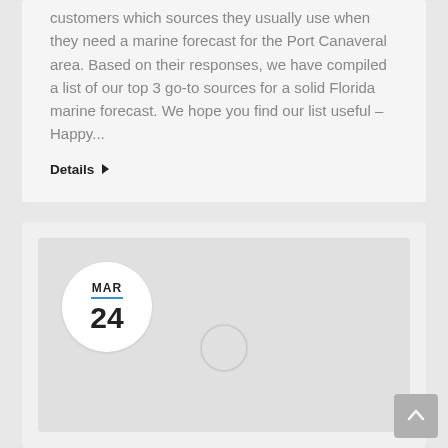customers which sources they usually use when they need a marine forecast for the Port Canaveral area. Based on their responses, we have compiled a list of our top 3 go-to sources for a solid Florida marine forecast. We hope you find our list useful – Happy...
Details ▶
[Figure (other): Card with a circular date badge showing MAR 24, with a blue underline divider. The card has a grey background with a loading spinner circle in the center-bottom area.]